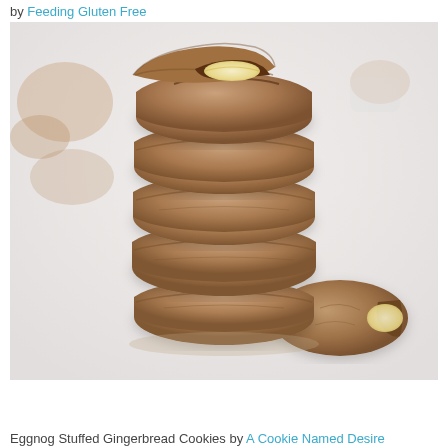by Feeding Gluten Free
[Figure (photo): A stack of four gingerbread cookies, the top one broken open to reveal an eggnog cream filling inside. Additional broken cookie pieces visible to the right and background. Photo taken on a white surface.]
Eggnog Stuffed Gingerbread Cookies by A Cookie Named Desire